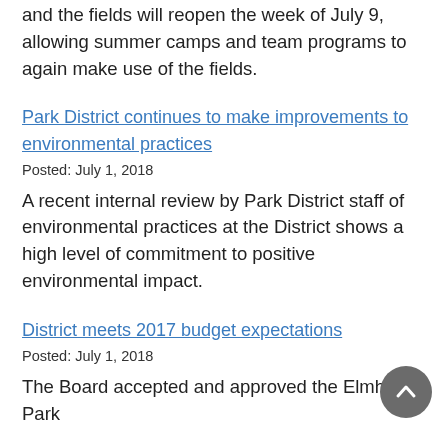and the fields will reopen the week of July 9, allowing summer camps and team programs to again make use of the fields.
Park District continues to make improvements to environmental practices
Posted: July 1, 2018
A recent internal review by Park District staff of environmental practices at the District shows a high level of commitment to positive environmental impact.
District meets 2017 budget expectations
Posted: July 1, 2018
The Board accepted and approved the Elmhurst Park